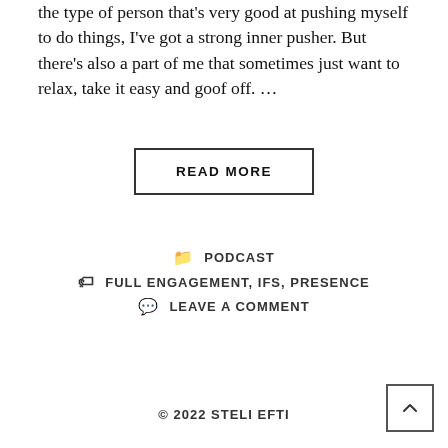the type of person that's very good at pushing myself to do things, I've got a strong inner pusher. But there's also a part of me that sometimes just want to relax, take it easy and goof off. ...
READ MORE
PODCAST
FULL ENGAGEMENT, IFS, PRESENCE
LEAVE A COMMENT
© 2022 STELI EFTI